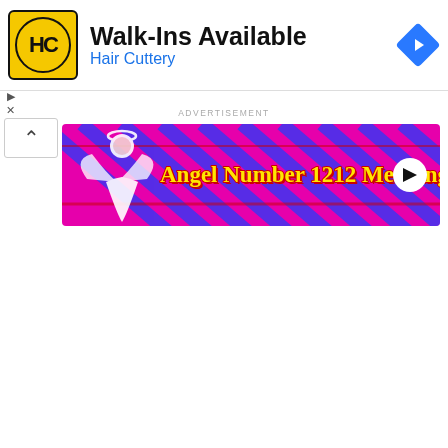[Figure (screenshot): Hair Cuttery advertisement banner with HC logo, text 'Walk-Ins Available' and 'Hair Cuttery', and a blue navigation diamond icon]
ADVERTISEMENT
[Figure (screenshot): Angel Number 1212 Meaning advertisement banner on magenta/pink diagonal striped background with angel illustration and yellow text]